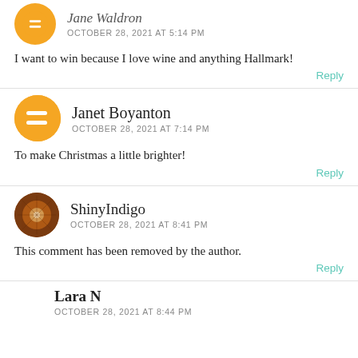Jane Waldron
OCTOBER 28, 2021 AT 5:14 PM
I want to win because I love wine and anything Hallmark!
Reply
Janet Boyanton
OCTOBER 28, 2021 AT 7:14 PM
To make Christmas a little brighter!
Reply
ShinyIndigo
OCTOBER 28, 2021 AT 8:41 PM
This comment has been removed by the author.
Reply
Lara N
OCTOBER 28, 2021 AT 8:44 PM